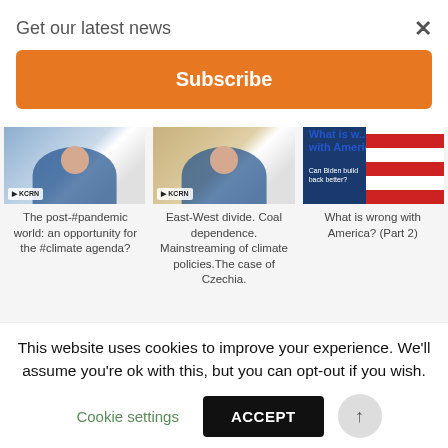Get our latest news
Subscribe
[Figure (screenshot): Thumbnail image of woman in blue blazer at desk, with logo badge bottom-left]
The post-#pandemic world: an opportunity for the #climate agenda?
[Figure (screenshot): Thumbnail image of woman in blue blazer at desk, with logo badge bottom-left]
East-West divide. Coal dependence. Mainstreaming of climate policies.The case of Czechia.
[Figure (screenshot): Thumbnail of book cover: 'What is wrong with America?' with red-white stripes and text 'Can Biden build back better?']
What is wrong with America? (Part 2)
[Figure (screenshot): Bottom row thumbnail: 'What is wrong with America' book cover]
[Figure (photo): Bottom row thumbnail: dark outdoor photo]
[Figure (photo): Bottom row thumbnail: dark photo]
This website uses cookies to improve your experience. We'll assume you're ok with this, but you can opt-out if you wish.
Cookie settings
ACCEPT